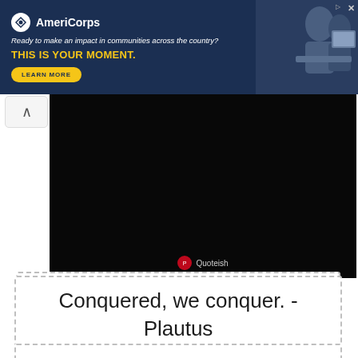[Figure (screenshot): AmeriCorps advertisement banner with dark blue background, logo, tagline 'Ready to make an impact in communities across the country?', headline 'THIS IS YOUR MOMENT.', Learn More button, and photo of people at computers]
[Figure (screenshot): Dark/black image area with Quoteish Pinterest logo badge at the bottom center]
Conquered, we conquer. - Plautus
[Figure (other): Empty dashed border rectangle at the bottom of the page]